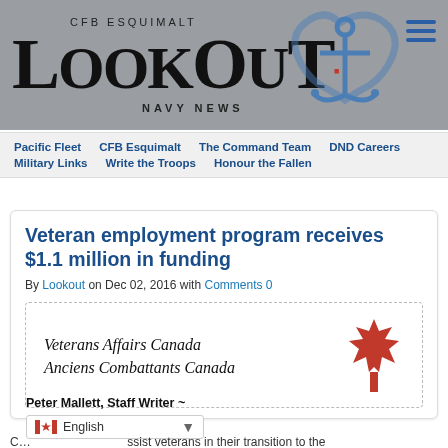[Figure (logo): CFB Esquimalt Lookout Navy News masthead logo with blue anchor graphic on grey background]
CFB ESQUIMALT Lookout NAVY NEWS
Pacific Fleet
CFB Esquimalt
The Command Team
DND Careers
Military Links
Write the Troops
Honour the Fallen
Veteran employment program receives $1.1 million in funding
By Lookout on Dec 02, 2016 with Comments 0
[Figure (logo): Veterans Affairs Canada / Anciens Combattants Canada logo with red maple leaf]
Peter Mallett, Staff Writer ~
C... ssist veterans in their transition to the